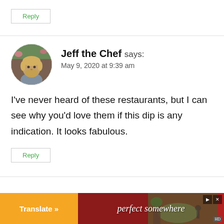Reply
Jeff the Chef says:
May 9, 2020 at 9:39 am
I've never heard of these restaurants, but I can see why you'd love them if this dip is any indication. It looks fabulous.
Reply
[Figure (infographic): Advertisement banner with orange Translate button and red background showing 'perfect somewhere' text with outdoor image]
[Figure (photo): Circular avatar photo of Jeff the Chef, a man with blond hair and beard outdoors with flowers in background]